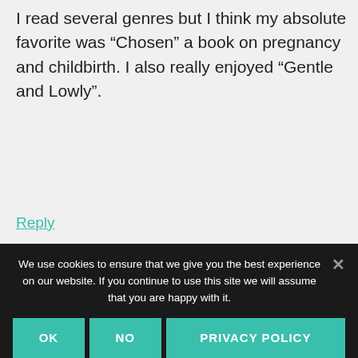I read several genres but I think my absolute favorite was “Chosen” a book on pregnancy and childbirth. I also really enjoyed “Gentle and Lowly”.
Reply
Tricia Goyer says
We use cookies to ensure that we give you the best experience on our website. If you continue to use this site we will assume that you are happy with it.
OK
NO
PRIVACY POLICY